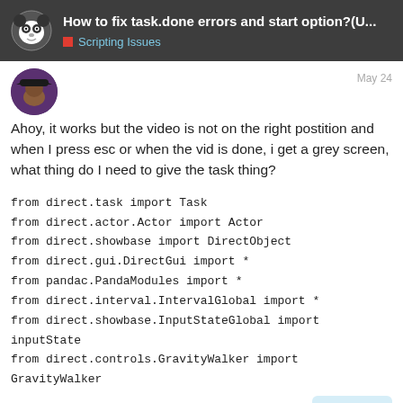How to fix task.done errors and start option?(U... Scripting Issues
[Figure (photo): Forum post avatar: pirate-themed user profile picture]
Ahoy, it works but the video is not on the right postition and when I press esc or when the vid is done, i get a grey screen, what thing do I need to give the task thing?
from direct.task import Task
from direct.actor.Actor import Actor
from direct.showbase import DirectObject
from direct.gui.DirectGui import *
from pandac.PandaModules import *
from direct.interval.IntervalGlobal import *
from direct.showbase.InputStateGlobal import inputState
from direct.controls.GravityWalker import GravityWalker

from panda3d.core import *